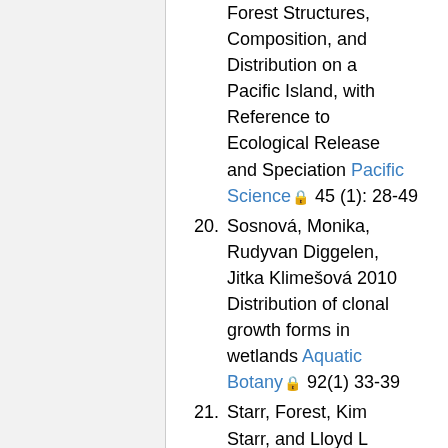Forest Structures, Composition, and Distribution on a Pacific Island, with Reference to Ecological Release and Speciation Pacific Science 45 (1): 28-49
20. Sosnová, Monika, Rudyvan Diggelen, Jitka Klimešová 2010 Distribution of clonal growth forms in wetlands Aquatic Botany 92(1) 33-39
21. Starr, Forest, Kim Starr, and Lloyd L...